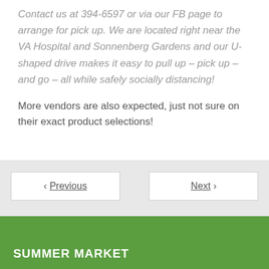Contact us at 394-6597 or via our FB page to arrange for pick up.  We are located right near the VA Hospital and Sonnenberg Gardens and our U-shaped drive makes it easy to pull up – pick up – and go – all while safely socially distancing!
More vendors are also expected, just not sure on their exact product selections!
< Previous
Next >
SUMMER MARKET